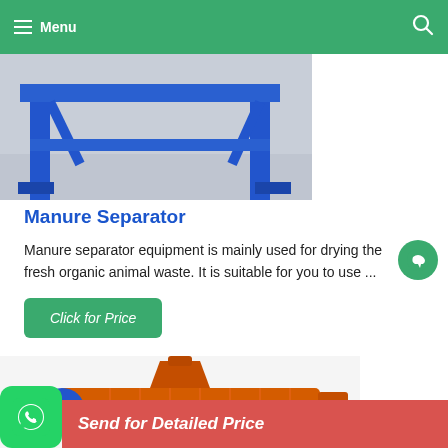Menu
[Figure (photo): Blue metal frame/stand structure of a manure separator machine, photographed on a concrete floor.]
Manure Separator
Manure separator equipment is mainly used for drying the fresh organic animal waste. It is suitable for you to use ...
Click for Price
[Figure (photo): Orange colored screw press / auger manure separator machine with blue motor, photographed from the side.]
Send for Detailed Price